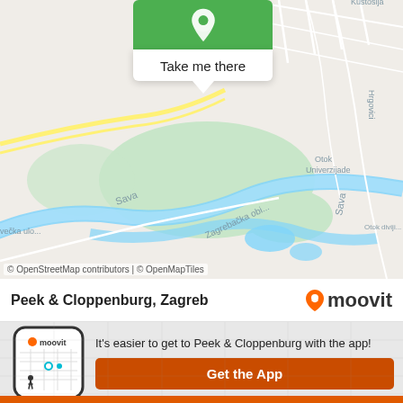[Figure (map): Street map of Zagreb showing Sava river, green parks, city streets. A tooltip with green header (pin icon) and white body reading 'Take me there' is displayed over the map. Map labels include: Sava, Zagrebačka obi..., Hrgovici, Otok Univerzijade, Otok diviji..., Kustošija, večka ulo...]
© OpenStreetMap contributors | © OpenMapTiles
Peek & Cloppenburg, Zagreb
[Figure (logo): Moovit logo: orange location pin icon followed by 'moovit' in bold dark text]
[Figure (screenshot): Phone mockup showing Moovit app interface with orange pin logo, map, teal route dots and walking figure icon]
It's easier to get to Peek & Cloppenburg with the app!
Get the App